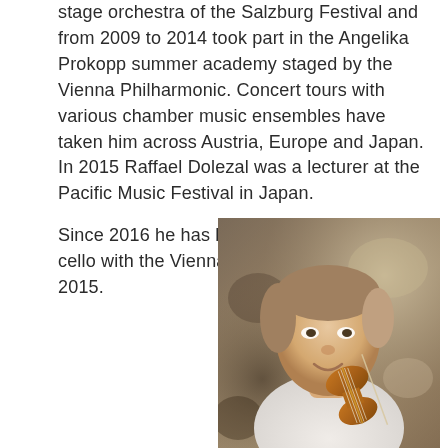stage orchestra of the Salzburg Festival and from 2009 to 2014 took part in the Angelika Prokopp summer academy staged by the Vienna Philharmonic. Concert tours with various chamber music ensembles have taken him across Austria, Europe and Japan. In 2015 Raffael Dolezal was a lecturer at the Pacific Music Festival in Japan.
Since 2016 he has been assistant principal cello with the Vienna RSO.
2015.
[Figure (photo): A man playing a string instrument (cello/violin) in an orchestra setting, wearing a white shirt, with blurred musicians in the background.]